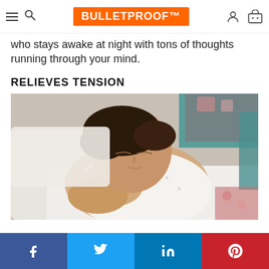Bulletproof (logo) — navigation header with hamburger menu, search, user account, and cart icons
who stays awake at night with tons of thoughts running through your mind.
RELIEVES TENSION
[Figure (photo): A woman with dark hair lying on a pillow in bed, eyes closed, wearing a white polka-dot top, appearing relaxed and asleep. Colorful floral bedding visible in background.]
Social share bar: Facebook, Twitter, LinkedIn, Pinterest